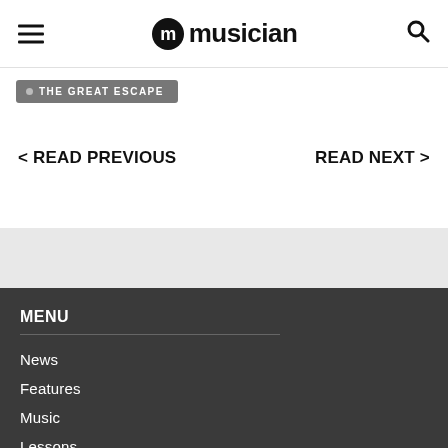musician
THE GREAT ESCAPE
< READ PREVIOUS
READ NEXT >
MENU
News
Features
Music
Lessons